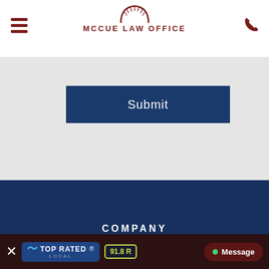[Figure (logo): McCue Law Office logo with semicircle/sun icon and dark red text]
Submit
[Figure (logo): BBB Accredited Business badge]
COMPANY
Our Attorneys
Our Staff
[Figure (logo): Top Rated Local badge with score 91.8]
Message